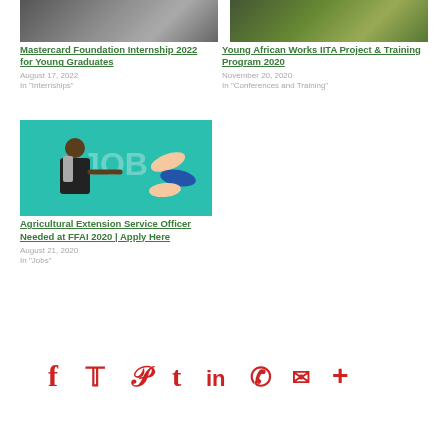[Figure (photo): Top left card image - group of people]
Mastercard Foundation Internship 2022 for Young Graduates
August 17, 2022
In "Internships"
[Figure (photo): Top right card image - green field/plants]
Young African Works IITA Project & Training Program 2020
November 20, 2020
In "Conferences and Training"
[Figure (illustration): Job illustration with person pointing at JOB sign and hands reaching]
Agricultural Extension Service Officer Needed at FFAI 2020 | Apply Here
August 21, 2020
In "Jobs"
[Figure (infographic): Social media sharing icons row: Facebook, Twitter, Pinterest, Tumblr, LinkedIn, WhatsApp, Email, More]